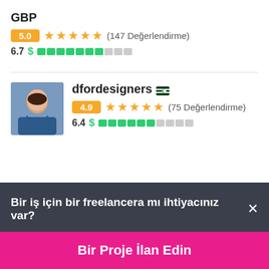GBP
5.0 ★★★★★ (147 Değerlendirme)
6.7 $ [bar indicator]
[Figure (photo): Profile photo of dfordesigners - a young woman in blue clothing]
dfordesigners 🇵🇰
4.9 ★★★★★ (75 Değerlendirme)
6.4 $ [bar indicator]
Bir iş için bir freelancera mı ihtiyacınız var? ×
Bir Proje İlan Edin